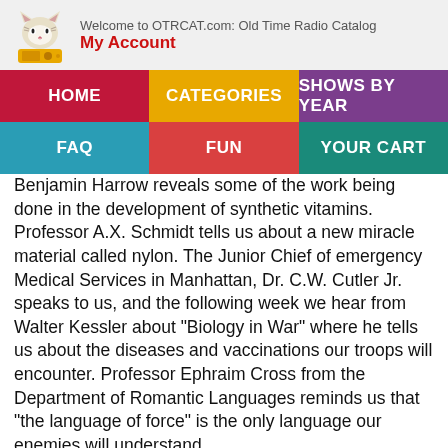Welcome to OTRCAT.com: Old Time Radio Catalog
My Account
Benjamin Harrow reveals some of the work being done in the development of synthetic vitamins. Professor A.X. Schmidt tells us about a new miracle material called nylon. The Junior Chief of emergency Medical Services in Manhattan, Dr. C.W. Cutler Jr. speaks to us, and the following week we hear from Walter Kessler about "Biology in War" where he tells us about the diseases and vaccinations our troops will encounter. Professor Ephraim Cross from the Department of Romantic Languages reminds us that "the language of force" is the only language our enemies will understand.
From a historical perspective, one of the most interesting discussions is from H.H. Goldsmith of the Physics Department who talks on "Atomic Physics and W... Mar 28, 1942, more than three years before the detonation of the Trinity Test and just as the Man... Project was going into deep secrecy.